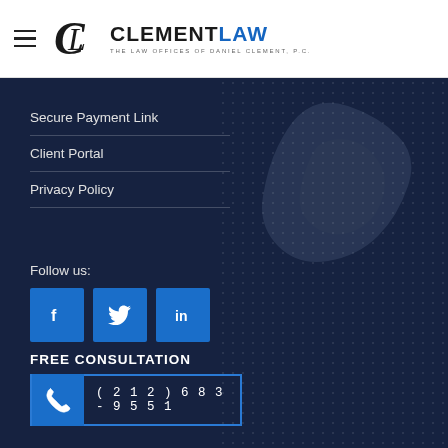[Figure (logo): Clement Law logo with stylized CL monogram, text CLEMENTLAW and subtitle THE LAW OFFICES OF DANIEL CLEMENT, P.C.]
Secure Payment Link
Client Portal
Privacy Policy
Follow us:
[Figure (illustration): Social media icons: Facebook (f), Twitter (bird), LinkedIn (in) — blue square buttons]
FREE CONSULTATION
(212) 683-9551